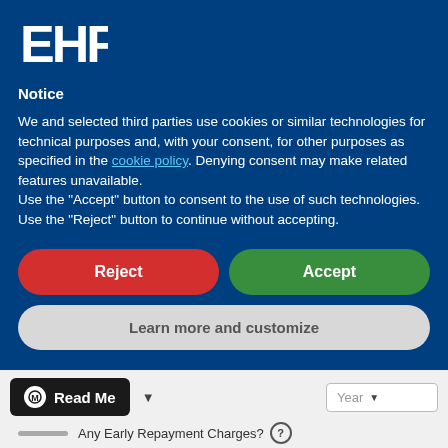[Figure (logo): EHF logo in white stylized text on dark blue background]
Notice
We and selected third parties use cookies or similar technologies for technical purposes and, with your consent, for other purposes as specified in the cookie policy. Denying consent may make related features unavailable.
Use the "Accept" button to consent to the use of such technologies. Use the "Reject" button to continue without accepting.
Reject
Accept
Learn more and customize
Read Me
Year
Any Early Repayment Charges?